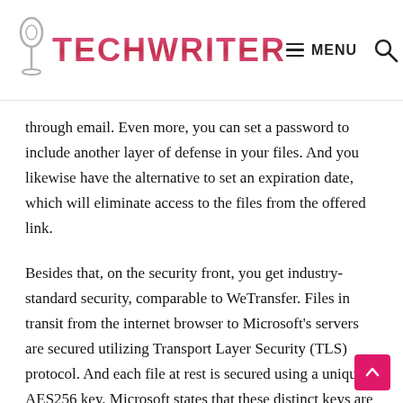TECHWRITER — MENU [search]
through email. Even more, you can set a password to include another layer of defense in your files. And you likewise have the alternative to set an expiration date, which will eliminate access to the files from the offered link.
Besides that, on the security front, you get industry-standard security, comparable to WeTransfer. Files in transit from the internet browser to Microsoft's servers are secured utilizing Transport Layer Security (TLS) protocol. And each file at rest is secured using a unique AES256 key. Microsoft states that these distinct keys are secured with a set of master keys saved in the Azure Key Vault. All in all, OneDrive is a safe and capable alternative to